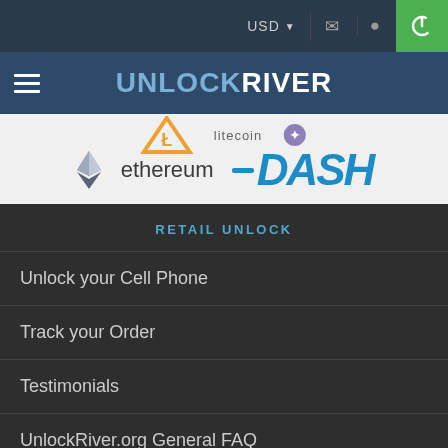USD
UNLOCKRIVER
[Figure (logo): Ethereum and DASH cryptocurrency logos on light gray banner]
RETAIL UNLOCK
Unlock your Cell Phone
Track your Order
Testimonials
UnlockRiver.org General FAQ
How to Unlock FAQ
WHOLESALE UNLOCK